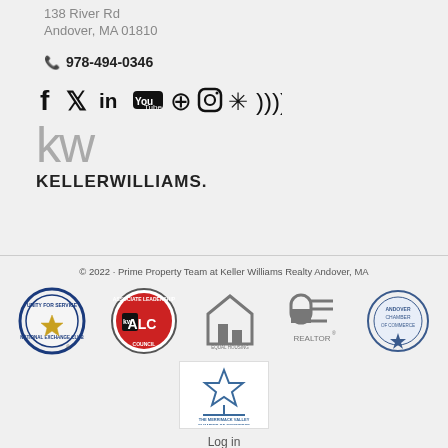138 River Rd
Andover, MA 01810
978-494-0346
[Figure (logo): Social media icons: Facebook, Twitter, LinkedIn, YouTube, Pinterest, Instagram, Yelp, RSS]
[Figure (logo): Keller Williams logo with 'kw' in gray and 'KELLERWILLIAMS.' in black bold text]
© 2022 · Prime Property Team at Keller Williams Realty Andover, MA
[Figure (logo): Five organization logos: National Exchange Club, Associate Leadership Council (kw ALC), Equal Housing Opportunity, Realtor, Chamber of Commerce circle logo, and The Merrimack Valley Chamber of Commerce star logo]
Log in